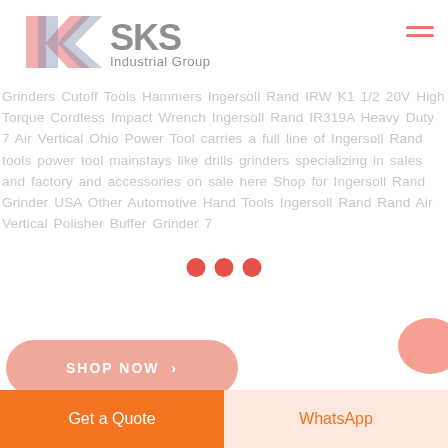[Figure (logo): SKS Industrial Group logo with stylized red and blue K letter mark and gray text]
Grinders Cutoff Tools Hammers Ingersoll Rand IRW K1 1/2 20V High Torque Cordless Impact Wrench Ingersoll Rand IR319A Heavy Duty 7 Air Vertical Ohio Power Tool carries a full line of Ingersoll Rand tools power tool mainstays like drills grinders specializing in sales and factory and accessories on sale here Shop for Ingersoll Rand Grinder USA Other Automotive Hand Tools Ingersoll Rand Rand Air Vertical Polisher Buffer Grinder 7
[Figure (other): Three red loading dots (pagination indicators)]
SHOP NOW
Get a Quote
WhatsApp